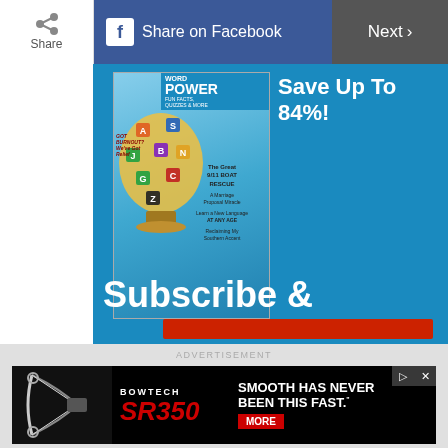[Figure (screenshot): Top navigation bar with Share button, Share on Facebook button, and Next button]
[Figure (photo): Reader's Digest magazine cover featuring 'Word Power' with letter blocks globe, stories about 9/11 boat rescue, marriage proposal miracle, learn a new language at any age, reclaiming my southern accent, got burnout on blue background]
Save Up To 84%!
Subscribe &
[Figure (other): Red subscription button partially visible at bottom of blue ad banner]
ADVERTISEMENT
[Figure (photo): Bowtech SR350 advertisement: bow on left side, text reads BOWTECH SR350 SMOOTH HAS NEVER BEEN THIS FAST. with MORE button]